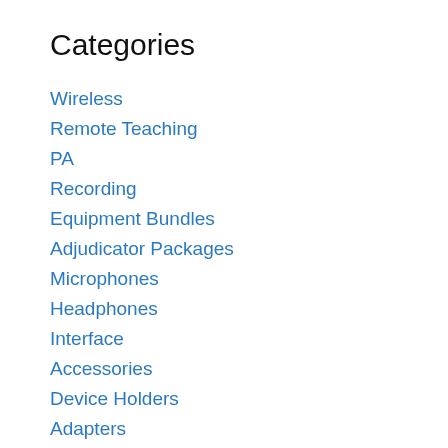Categories
Wireless
Remote Teaching
PA
Recording
Equipment Bundles
Adjudicator Packages
Microphones
Headphones
Interface
Accessories
Device Holders
Adapters